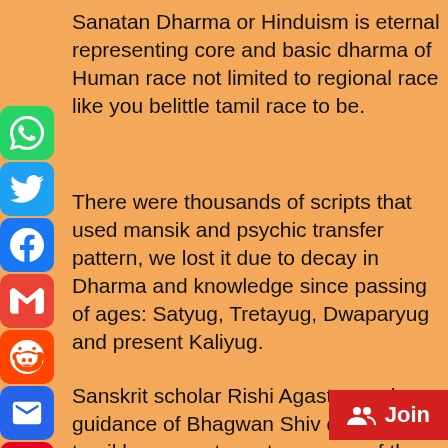Sanatan Dharma or Hinduism is eternal representing core and basic dharma of Human race not limited to regional race like you belittle tamil race to be.
There were thousands of scripts that used mansik and psychic transfer pattern, we lost it due to decay in Dharma and knowledge since passing of ages: Satyug, Tretayug, Dwaparyug and present Kaliyug.
Sanskrit scholar Rishi Agastya under guidance of Bhagwan Shiv devised tamil language to restore some of the ancient manuscripts and knowledge of Sanatan Hindu dharma for future generations.
Do not behave like a belted pet of comm... rice bag converts by creating farcical div...